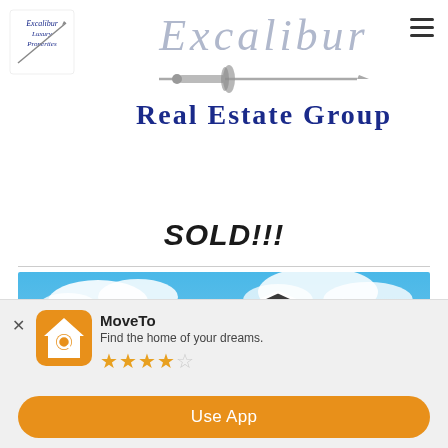[Figure (logo): Excalibur Luxury Properties small logo top left, featuring a sword graphic and script text]
[Figure (logo): Excalibur Real Estate Group main logo center, featuring large italic gray 'Excalibur' text, a decorative sword graphic, and bold blue 'Real Estate Group' text]
SOLD!!!
[Figure (photo): Photograph of a dark navy blue craftsman-style house with white trim, dormer windows, and a blue sky with clouds in the background]
[Figure (screenshot): MoveTo app install banner: orange house icon with magnifying glass, app name 'MoveTo', tagline 'Find the home of your dreams.', 3.5 star rating, and orange 'Use App' button]